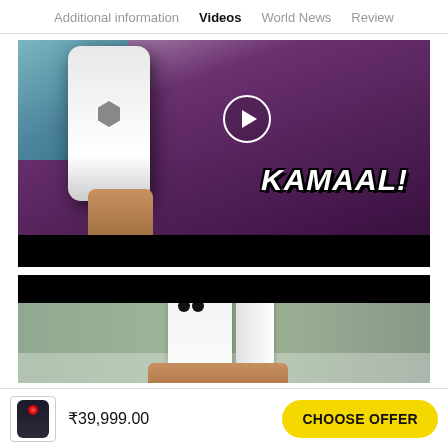Additional information   Videos   World News   Review
[Figure (screenshot): Video thumbnail showing a person in a purple shirt holding a white iPhone, with 'KAMAAL!' text overlay and a play button circle]
[Figure (screenshot): Second video thumbnail showing a white iPhone 11 next to its box on a desk, with black letterbox bars]
₹39,999.00
CHOOSE OFFER